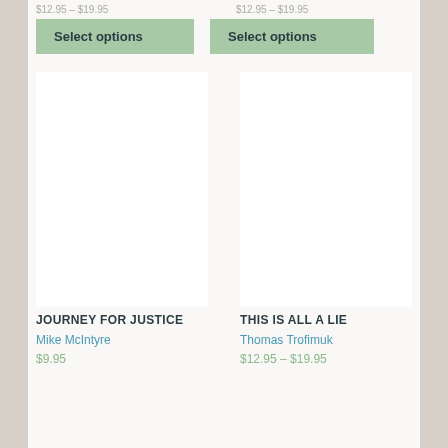$12.95 – $19.95   $12.95 – $19.95
Select options
Select options
[Figure (other): Product image placeholder for Journey for Justice]
JOURNEY FOR JUSTICE
Mike McIntyre
$9.95
[Figure (other): Product image placeholder for This Is All a Lie]
THIS IS ALL A LIE
Thomas Trofimuk
$12.95 – $19.95